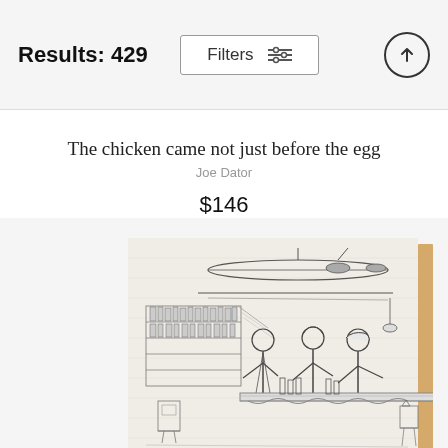Results: 429
Filters
The chicken came not just before the egg
Joe Dator
$146
[Figure (illustration): A cartoon sketch printed on a wood-mounted panel showing a bar scene with three people — a bartender and two customers — at a counter with shelves of bottles in the background. The artwork is a New Yorker-style pen-and-ink illustration mounted on a light wood board visible on the right and bottom edges.]